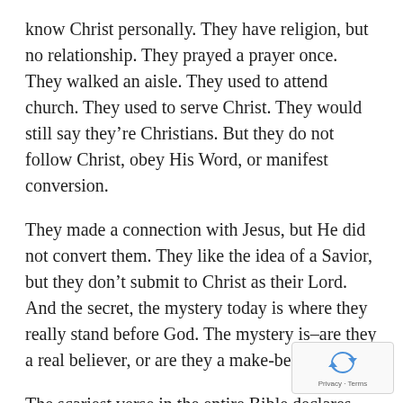know Christ personally. They have religion, but no relationship. They prayed a prayer once. They walked an aisle. They used to attend church. They used to serve Christ. They would still say they’re Christians. But they do not follow Christ, obey His Word, or manifest conversion.
They made a connection with Jesus, but He did not convert them. They like the idea of a Savior, but they don’t submit to Christ as their Lord. And the secret, the mystery today is where they really stand before God. The mystery is–are they a real believer, or are they a make-believer?
The scariest verse in the entire Bible declares some of you are fake Christians. Matthew 7:22 and 23 say, “Many will say to Me on that day, ‘Lord, Lord, did we not prophesy in Your name, and in Your name cast out demons, and in Your name perform many